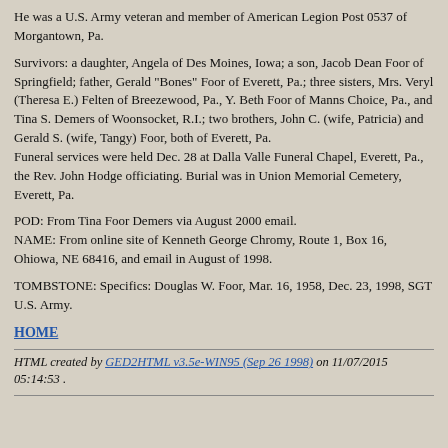He was a U.S. Army veteran and member of American Legion Post 0537 of Morgantown, Pa.
Survivors: a daughter, Angela of Des Moines, Iowa; a son, Jacob Dean Foor of Springfield; father, Gerald "Bones" Foor of Everett, Pa.; three sisters, Mrs. Veryl (Theresa E.) Felten of Breezewood, Pa., Y. Beth Foor of Manns Choice, Pa., and Tina S. Demers of Woonsocket, R.I.; two brothers, John C. (wife, Patricia) and Gerald S. (wife, Tangy) Foor, both of Everett, Pa.
Funeral services were held Dec. 28 at Dalla Valle Funeral Chapel, Everett, Pa., the Rev. John Hodge officiating. Burial was in Union Memorial Cemetery, Everett, Pa.
POD: From Tina Foor Demers via August 2000 email.
NAME: From online site of Kenneth George Chromy, Route 1, Box 16, Ohiowa, NE 68416, and email in August of 1998.
TOMBSTONE: Specifics: Douglas W. Foor, Mar. 16, 1958, Dec. 23, 1998, SGT U.S. Army.
HOME
HTML created by GED2HTML v3.5e-WIN95 (Sep 26 1998) on 11/07/2015 05:14:53 .